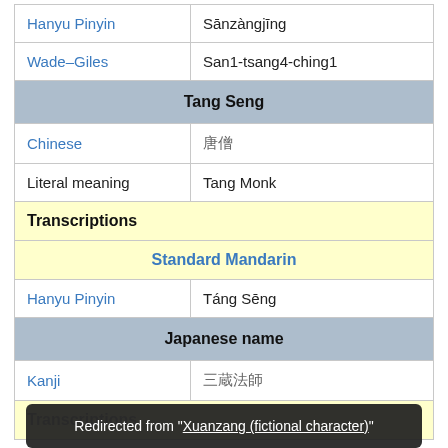| Hanyu Pinyin | Sānzàngjīng |
| Wade–Giles | San1-tsang4-ching1 |
| Tang Seng |  |
| Chinese | 唐僧 |
| Literal meaning | Tang Monk |
| Transcriptions |  |
| Standard Mandarin |  |
| Hanyu Pinyin | Táng Sēng |
| Japanese name |  |
| Kanji | 三蔵法師 |
| Transcriptions |  |
Redirected from "Xuanzang (fictional character)"